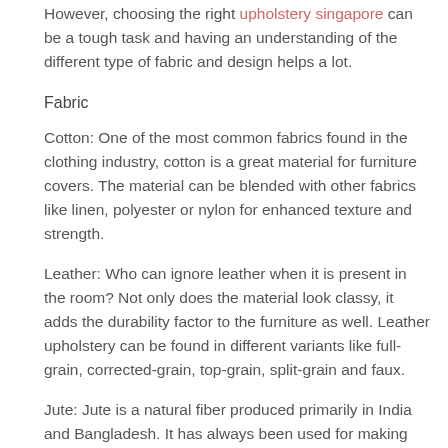However, choosing the right upholstery singapore can be a tough task and having an understanding of the different type of fabric and design helps a lot.
Fabric
Cotton: One of the most common fabrics found in the clothing industry, cotton is a great material for furniture covers. The material can be blended with other fabrics like linen, polyester or nylon for enhanced texture and strength.
Leather: Who can ignore leather when it is present in the room? Not only does the material look classy, it adds the durability factor to the furniture as well. Leather upholstery can be found in different variants like full-grain, corrected-grain, top-grain, split-grain and faux.
Jute: Jute is a natural fiber produced primarily in India and Bangladesh. It has always been used for making ropes and mats but for few years now, the fiber has been used as an upholstery material. It looks great on